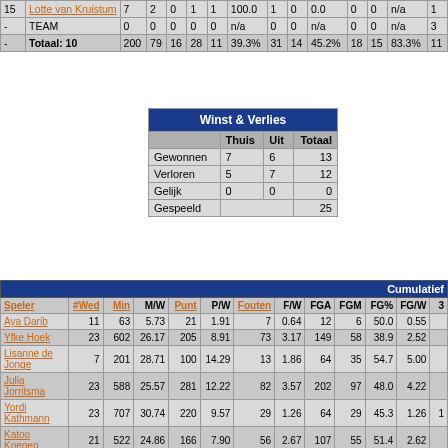| # | Speler | Min | M/W | Punt | P/W | FGA | FGM | FG% | FGA | FGM | FG% | FGW | 3 |
| --- | --- | --- | --- | --- | --- | --- | --- | --- | --- | --- | --- | --- | --- |
| 15 | Lotte van Kruistum | 7 | 2 | 0 | 1 | 1 | 100.0 | 1 | 0 | 0.0 | 0 | 0 | n/a | 1 |
| - | TEAM | 0 | 0 | 0 | 0 | 0 | n/a | 0 | 0 | n/a | 0 | 0 | n/a | 3 |
| - | Totaal: 10 | 200 | 79 | 16 | 28 | 11 | 39.3% | 31 | 14 | 45.2% | 18 | 15 | 83.3% | 11 |
|  | Thuis | Uit | Totaal |
| --- | --- | --- | --- |
| Gewonnen | 7 | 6 | 13 |
| Verloren | 5 | 7 | 12 |
| Gelijk | 0 | 0 | 0 |
| Gespeeld |  |  | 25 |
| Speler | #Wed | Min | M/W | Punt | P/W | Fouten | F/W | FGA | FGM | FG% | FG/W | 3 |
| --- | --- | --- | --- | --- | --- | --- | --- | --- | --- | --- | --- | --- |
| Aya Darib | 11 | 63 | 5.73 | 21 | 1.91 | 7 | 0.64 | 12 | 6 | 50.0 | 0.55 |  |
| Yfke Hoek | 23 | 602 | 26.17 | 205 | 8.91 | 73 | 3.17 | 149 | 58 | 38.9 | 2.52 |  |
| Lisanne de Jonge | 7 | 201 | 28.71 | 100 | 14.29 | 13 | 1.86 | 64 | 35 | 54.7 | 5.00 |  |
| Julia Jorritsma | 23 | 588 | 25.57 | 281 | 12.22 | 82 | 3.57 | 202 | 97 | 48.0 | 4.22 |  |
| Yordi Kathmann | 23 | 707 | 30.74 | 220 | 9.57 | 29 | 1.26 | 64 | 29 | 45.3 | 1.26 | 1 |
| Katoo Koenen | 21 | 522 | 24.86 | 166 | 7.90 | 56 | 2.67 | 107 | 55 | 51.4 | 2.62 |  |
| Dilara Lafatan | 16 | 347 | 21.69 | 110 | 6.88 | 27 | 1.69 | 112 | 43 | 38.4 | 2.69 |  |
| Gracie Roberts | 23 | 491 | 21.35 | 128 | 5.57 | 43 | 1.87 | 111 | 36 | 32.4 | 1.57 |  |
| Cadin |  |  |  |  |  |  |  |  |  |  |  |  |